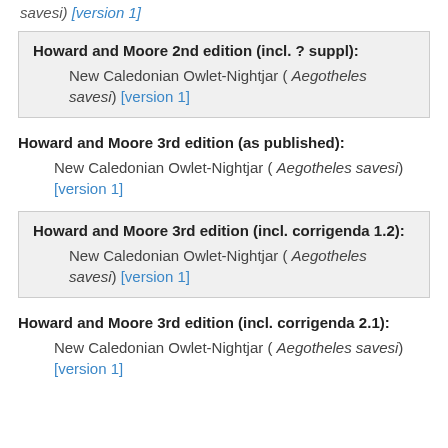savesi) [version 1]
Howard and Moore 2nd edition (incl. ? suppl):
New Caledonian Owlet-Nightjar ( Aegotheles savesi) [version 1]
Howard and Moore 3rd edition (as published):
New Caledonian Owlet-Nightjar ( Aegotheles savesi) [version 1]
Howard and Moore 3rd edition (incl. corrigenda 1.2):
New Caledonian Owlet-Nightjar ( Aegotheles savesi) [version 1]
Howard and Moore 3rd edition (incl. corrigenda 2.1):
New Caledonian Owlet-Nightjar ( Aegotheles savesi) [version 1]